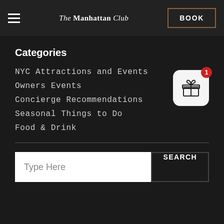The Manhattan Club | BOOK
Categories
NYC Attractions and Events
Owners Events
Concierge Recommendations
Seasonal Things to Do
Food & Drink
[Figure (infographic): Gift box icon with red notification badge showing '1']
Type Here
SEARCH